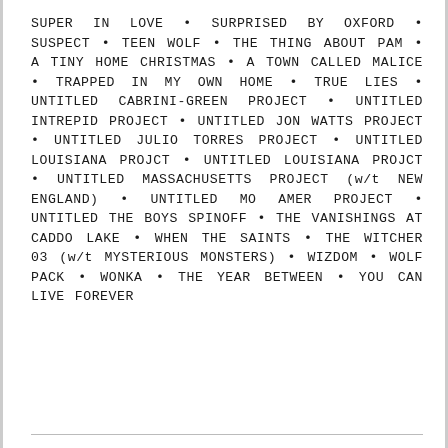SUPER IN LOVE • SURPRISED BY OXFORD • SUSPECT • TEEN WOLF • THE THING ABOUT PAM • A TINY HOME CHRISTMAS • A TOWN CALLED MALICE • TRAPPED IN MY OWN HOME • TRUE LIES • UNTITLED CABRINI-GREEN PROJECT • UNTITLED INTREPID PROJECT • UNTITLED JON WATTS PROJECT • UNTITLED JULIO TORRES PROJECT • UNTITLED LOUISIANA PROJCT • UNTITLED LOUISIANA PROJCT • UNTITLED MASSACHUSETTS PROJECT (w/t NEW ENGLAND) • UNTITLED MO AMER PROJECT • UNTITLED THE BOYS SPINOFF • THE VANISHINGS AT CADDO LAKE • WHEN THE SAINTS • THE WITCHER 03 (w/t MYSTERIOUS MONSTERS) • WIZDOM • WOLF PACK • WONKA • THE YEAR BETWEEN • YOU CAN LIVE FOREVER